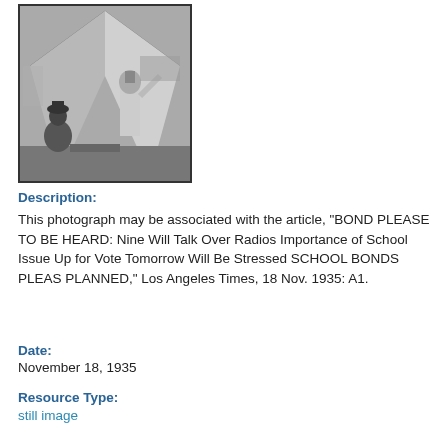[Figure (photo): Black and white photograph of people inside a tent structure, appearing to be crouching or sitting around something on the ground.]
Description:
This photograph may be associated with the article, “BOND PLEASE TO BE HEARD: Nine Will Talk Over Radios Importance of School Issue Up for Vote Tomorrow Will Be Stressed SCHOOL BONDS PLEAS PLANNED,” Los Angeles Times, 18 Nov. 1935: A1.
Date:
November 18, 1935
Resource Type:
still image